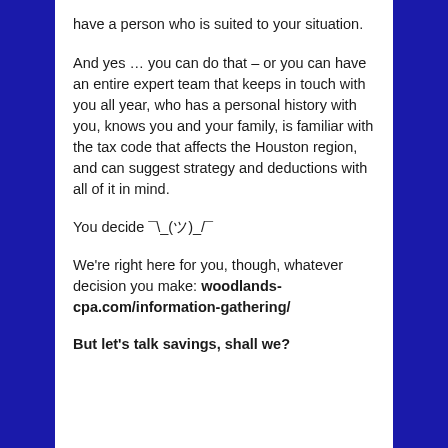have a person who is suited to your situation.
And yes … you can do that – or you can have an entire expert team that keeps in touch with you all year, who has a personal history with you, knows you and your family, is familiar with the tax code that affects the Houston region, and can suggest strategy and deductions with all of it in mind.
You decide ¯\_(ツ)_/¯
We're right here for you, though, whatever decision you make: woodlands-cpa.com/information-gathering/
But let's talk savings, shall we?